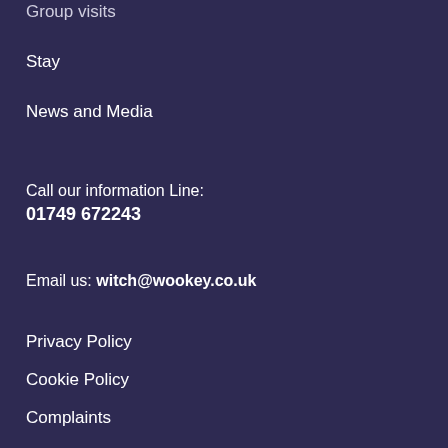Group visits
Stay
News and Media
Call our information Line:
01749 672243
Email us: witch@wookey.co.uk
Privacy Policy
Cookie Policy
Complaints
Contact us